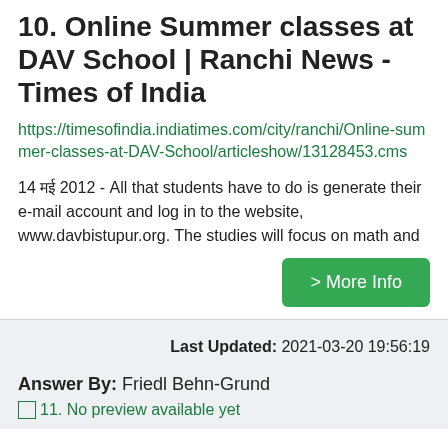10. Online Summer classes at DAV School | Ranchi News - Times of India
https://timesofindia.indiatimes.com/city/ranchi/Online-summer-classes-at-DAV-School/articleshow/13128453.cms
14 मई 2012 - All that students have to do is generate their e-mail account and log in to the website, www.davbistupur.org. The studies will focus on math and
> More Info
Last Updated: 2021-03-20 19:56:19
Answer By: Friedl Behn-Grund
11. No preview available yet